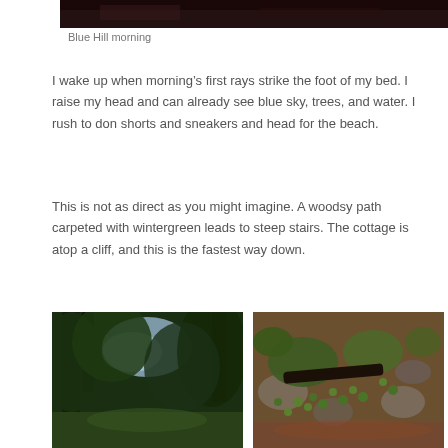[Figure (photo): Top portion of a dark photo, cropped at the top of the page]
Blue Hill morning
I wake up when morning’s first rays strike the foot of my bed. I raise my head and can already see blue sky, trees, and water. I rush to don shorts and sneakers and head for the beach.
This is not as direct as you might imagine. A woodsy path carpeted with wintergreen leads to steep stairs. The cottage is atop a cliff, and this is the fastest way down.
[Figure (photo): Photo of a wooded path looking up through tall dark trees toward a patch of blue sky]
[Figure (photo): Close-up photo of moss, rocks, and small round green leaves (wintergreen) on the forest floor]